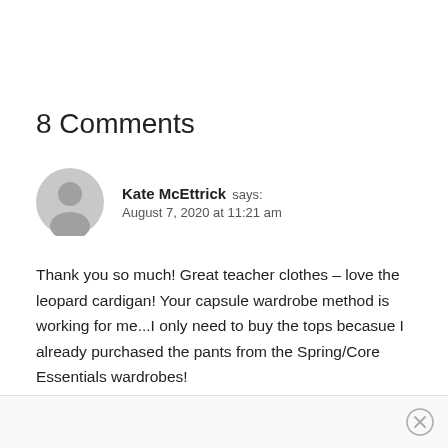8 Comments
Kate McEttrick says:
August 7, 2020 at 11:21 am
Thank you so much! Great teacher clothes – love the leopard cardigan! Your capsule wardrobe method is working for me...I only need to buy the tops becasue I already purchased the pants from the Spring/Core Essentials wardrobes!